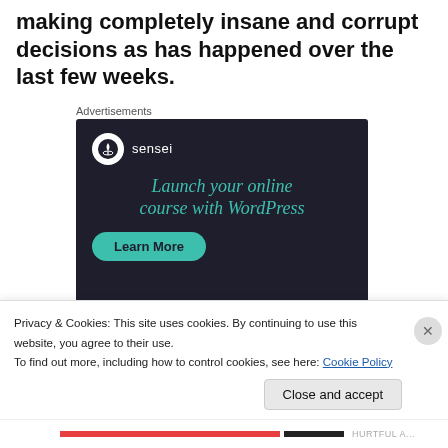making completely insane and corrupt decisions as has happened over the last few weeks.
Advertisements
[Figure (advertisement): Sensei advertisement: dark navy background with Sensei logo (tree icon in white circle), headline 'Launch your online course with WordPress' in teal italic text, and a teal 'Learn More' pill button.]
Privacy & Cookies: This site uses cookies. By continuing to use this website, you agree to their use.
To find out more, including how to control cookies, see here: Cookie Policy